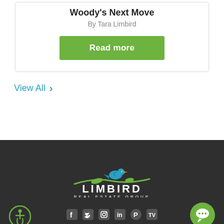Woody's Next Move
By Tara Limbird
Read more
View All
[Figure (logo): Limbird Real Estate Group logo with blue bird on green branch, white text on dark background]
Footer with accessibility icon, chat icon, and social media icons